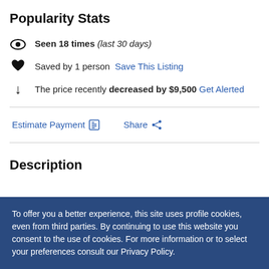Popularity Stats
Seen 18 times (last 30 days)
Saved by 1 person  Save This Listing
The price recently decreased by $9,500  Get Alerted
Estimate Payment  Share
Description
To offer you a better experience, this site uses profile cookies, even from third parties. By continuing to use this website you consent to the use of cookies. For more information or to select your preferences consult our Privacy Policy.